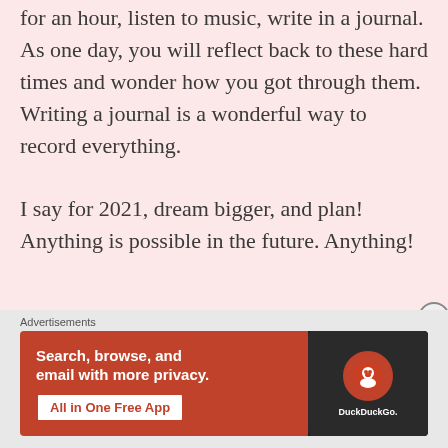for an hour, listen to music, write in a journal. As one day, you will reflect back to these hard times and wonder how you got through them. Writing a journal is a wonderful way to record everything.

I say for 2021, dream bigger, and plan! Anything is possible in the future. Anything!
Advertisements
[Figure (screenshot): DuckDuckGo advertisement banner with orange background. Left side shows text 'Search, browse, and email with more privacy.' with a white 'All in One Free App' button. Right side shows a dark smartphone with the DuckDuckGo logo and app name.]